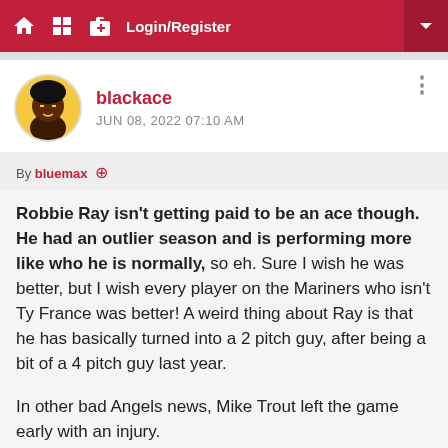Login/Register
blackace
JUN 08, 2022 07:10 AM
By bluemax
Robbie Ray isn't getting paid to be an ace though. He had an outlier season and is performing more like who he is normally, so eh. Sure I wish he was better, but I wish every player on the Mariners who isn't Ty France was better! A weird thing about Ray is that he has basically turned into a 2 pitch guy, after being a bit of a 4 pitch guy last year.

In other bad Angels news, Mike Trout left the game early with an injury.